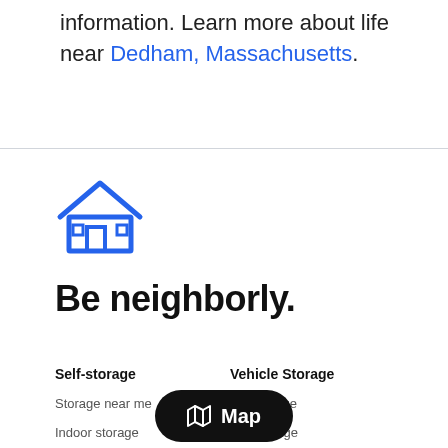information. Learn more about life near Dedham, Massachusetts.
[Figure (illustration): Blue house/neighborhood icon with roof and windows]
Be neighborly.
Self-storage
Vehicle Storage
Storage near me
RV Storage
Indoor storage
Car storage